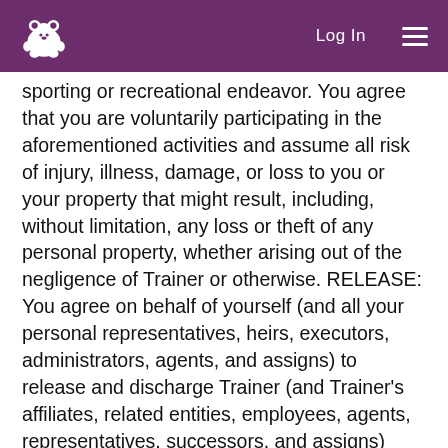Log In [hamburger menu]
sporting or recreational endeavor. You agree that you are voluntarily participating in the aforementioned activities and assume all risk of injury, illness, damage, or loss to you or your property that might result, including, without limitation, any loss or theft of any personal property, whether arising out of the negligence of Trainer or otherwise. RELEASE: You agree on behalf of yourself (and all your personal representatives, heirs, executors, administrators, agents, and assigns) to release and discharge Trainer (and Trainer's affiliates, related entities, employees, agents, representatives, successors, and assigns) from any and all claims or causes of action (known or unknown) arising out of the negligence of Trainer, whether active or passive, or any of Trainer's affiliates, employees, agents, representatives, successors, and assigns. This